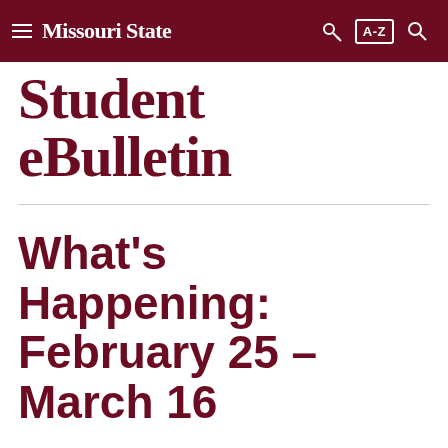Missouri State — Student eBulletin navigation bar
Student eBulletin
What's Happening: February 25 – March 16
February 23, 2015 by Kari Jo Freudigmann